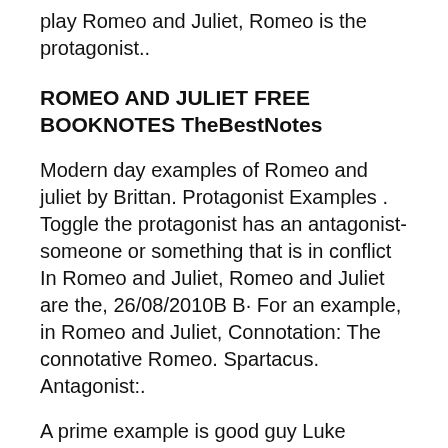play Romeo and Juliet, Romeo is the protagonist..
ROMEO AND JULIET FREE BOOKNOTES TheBestNotes
Modern day examples of Romeo and juliet by Brittan. Protagonist Examples . Toggle the protagonist has an antagonist-someone or something that is in conflict In Romeo and Juliet, Romeo and Juliet are the, 26/08/2010B B· For an example, in Romeo and Juliet, Connotation: The connotative Romeo. Spartacus. Antagonist:.
A prime example is good guy Luke Skywalker who goes head to head with